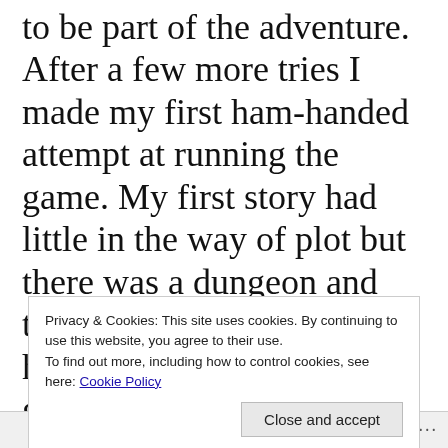to be part of the adventure. After a few more tries I made my first ham-handed attempt at running the game. My first story had little in the way of plot but there was a dungeon and there was a dragon, the heroes prevailed and so I guess three out of four wasn't bad for a
Privacy & Cookies: This site uses cookies. By continuing to use this website, you agree to their use. To find out more, including how to control cookies, see here: Cookie Policy
Close and accept
Follow ···